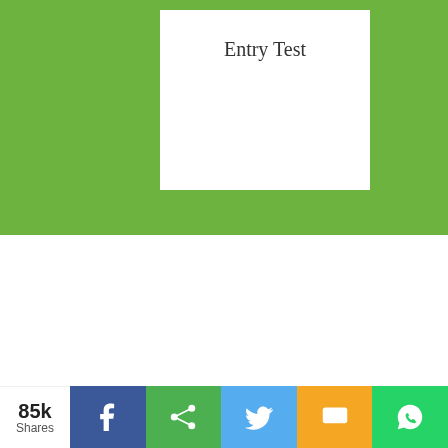[Figure (screenshot): Green banner background with white 'Entry Test' box]
All University and College Admission in Pakistan
Discipline Type
Computer Sciences & Information Technolo
Level
Diploma / Cert (after Matric)
Courses
Web Designing
City
85k Shares [Facebook] [Share] [Twitter] [SMS] [WhatsApp]